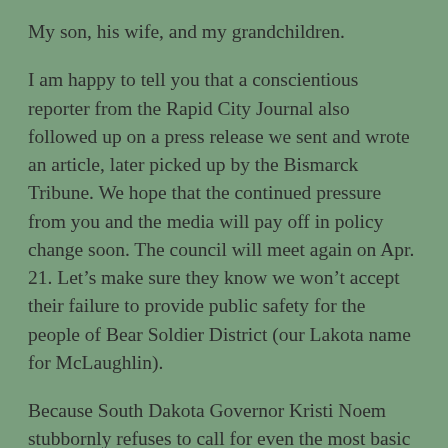My son, his wife, and my grandchildren.
I am happy to tell you that a conscientious reporter from the Rapid City Journal also followed up on a press release we sent and wrote an article, later picked up by the Bismarck Tribune. We hope that the continued pressure from you and the media will pay off in policy change soon. The council will meet again on Apr. 21. Let’s make sure they know we won’t accept their failure to provide public safety for the people of Bear Soldier District (our Lakota name for McLaughlin).
Because South Dakota Governor Kristi Noem stubbornly refuses to call for even the most basic precautions to slow the viral spread, the pandemic has now exploded in my state. (We will share more with you about this soon.) Since Falls is close to the river...